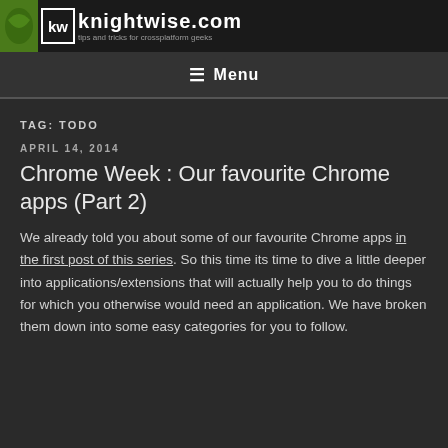kw knightwise.com
≡ Menu
TAG: TODO
APRIL 14, 2014
Chrome Week : Our favourite Chrome apps (Part 2)
We already told you about some of our favourite Chrome apps in the first post of this series. So this time its time to dive a little deeper into applications/extensions that will actually help you to do things for which you otherwise would need an application. We have broken them down into some easy categories for you to follow.